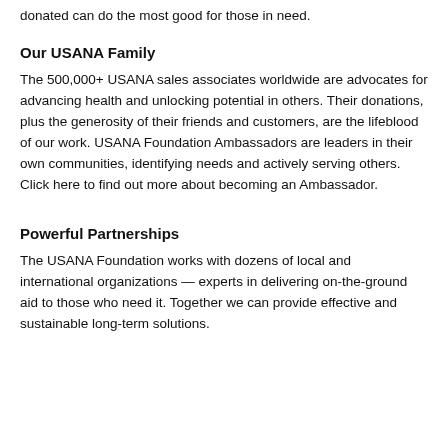donated can do the most good for those in need.
Our USANA Family
The 500,000+ USANA sales associates worldwide are advocates for advancing health and unlocking potential in others. Their donations, plus the generosity of their friends and customers, are the lifeblood of our work. USANA Foundation Ambassadors are leaders in their own communities, identifying needs and actively serving others. Click here to find out more about becoming an Ambassador.
Powerful Partnerships
The USANA Foundation works with dozens of local and international organizations — experts in delivering on-the-ground aid to those who need it. Together we can provide effective and sustainable long-term solutions.